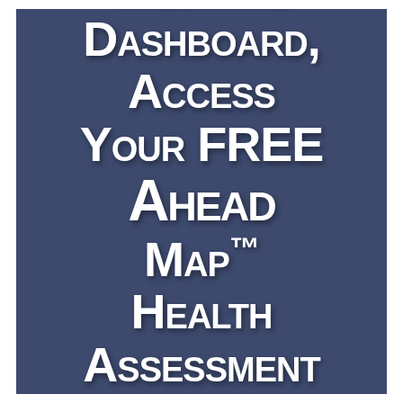Medicine Dashboard, Access Your FREE AHEAD Map™ Health Assessment Tool and